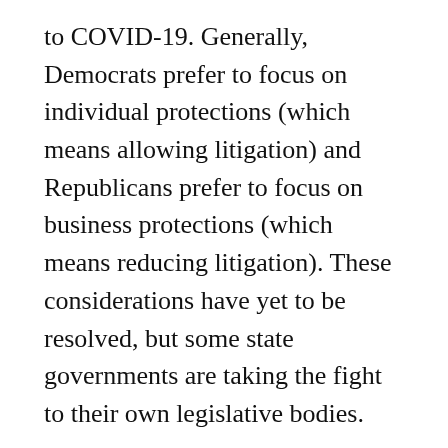to COVID-19. Generally, Democrats prefer to focus on individual protections (which means allowing litigation) and Republicans prefer to focus on business protections (which means reducing litigation). These considerations have yet to be resolved, but some state governments are taking the fight to their own legislative bodies.
For example, Alabama Governor Kay Ivey signed into law “Act Number 2021-4” in order to address litigation concerns on February 12, 2021.
There were actually three separate bills aimed at limited economic impacts, most of which protected businesses. The new laws aim to